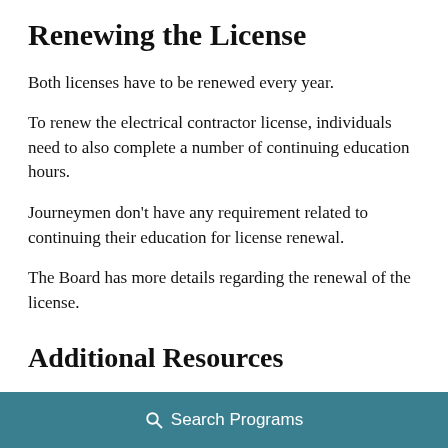Renewing the License
Both licenses have to be renewed every year.
To renew the electrical contractor license, individuals need to also complete a number of continuing education hours.
Journeymen don't have any requirement related to continuing their education for license renewal.
The Board has more details regarding the renewal of the license.
Additional Resources
Search Programs